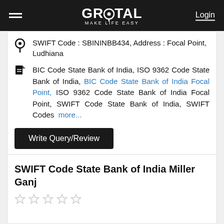GROTAL MAKE LIFE EASY | Login
SWIFT Code : SBININBB434, Address : Focal Point, Ludhiana
BIC Code State Bank of India, ISO 9362 Code State Bank of India, BIC Code State Bank of India Focal Point, ISO 9362 Code State Bank of India Focal Point, SWIFT Code State Bank of India, SWIFT Codes more...
Write Query/Review
SWIFT Code State Bank of India Miller Ganj